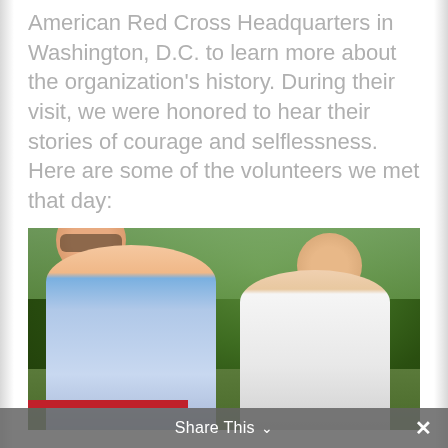American Red Cross Headquarters in Washington, D.C. to learn more about the organization's history. During their visit, we were honored to hear their stories of courage and selflessness. Here are some of the volunteers we met that day:
[Figure (photo): Two people posing outdoors in front of green trees and bushes. On the left is a man wearing sunglasses and a blue/white plaid shirt. On the right is a woman smiling, wearing a white top with a crossbody bag.]
Share This ∨  ×